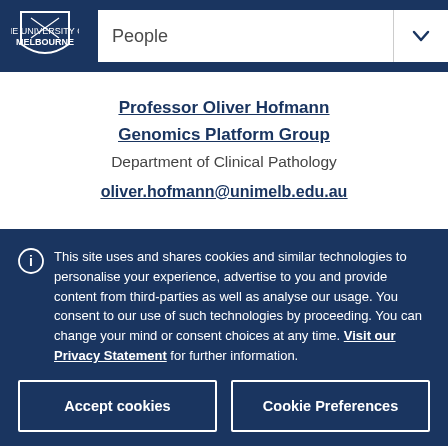People
Professor Oliver Hofmann
Genomics Platform Group
Department of Clinical Pathology
oliver.hofmann@unimelb.edu.au
This site uses and shares cookies and similar technologies to personalise your experience, advertise to you and provide content from third-parties as well as analyse our usage. You consent to our use of such technologies by proceeding. You can change your mind or consent choices at any time. Visit our Privacy Statement for further information.
Accept cookies
Cookie Preferences